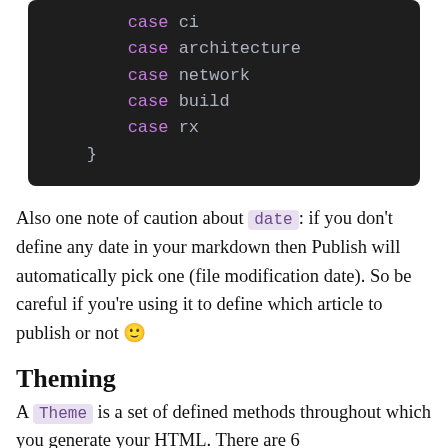[Figure (screenshot): Dark-themed code block showing Swift case statements: case ci, case architecture, case network, case build, case rx, closing brace]
Also one note of caution about date: if you don't define any date in your markdown then Publish will automatically pick one (file modification date). So be careful if you're using it to define which article to publish or not 🙂
Theming
A Theme is a set of defined methods throughout which you generate your HTML. There are 6